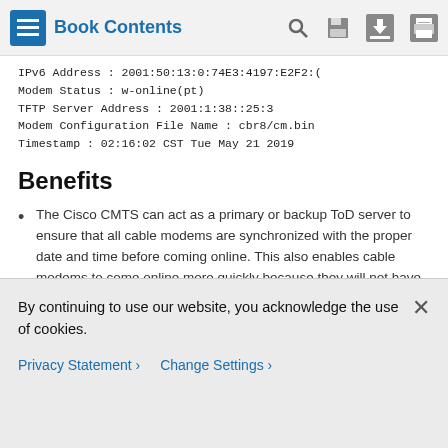Book Contents
IPv6 Address : 2001:50:13:0:74E3:4197:E2F2:(
Modem Status : w-online(pt)
TFTP Server Address : 2001:1:38::25:3
Modem Configuration File Name : cbr8/cm.bin
Timestamp : 02:16:02 CST Tue May 21 2019
Benefits
The Cisco CMTS can act as a primary or backup ToD server to ensure that all cable modems are synchronized with the proper date and time before coming online. This also enables cable modems to come online more quickly because they will not have to wait for the ToD timeout period before coming online.
The ToD... the Cisco CMTS... that all b...
By continuing to use our website, you acknowledge the use of cookies.
Privacy Statement > Change Settings >